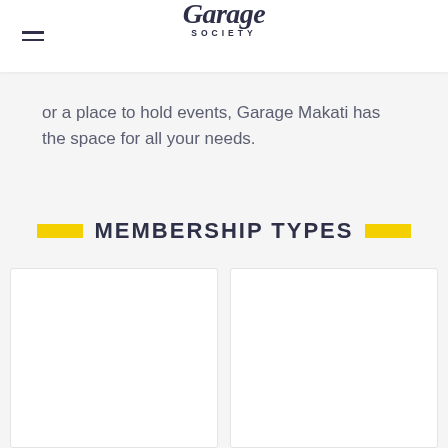Garage Society
or a place to hold events, Garage Makati has the space for all your needs.
MEMBERSHIP TYPES
[Figure (other): Two white card panels side by side representing membership type options]